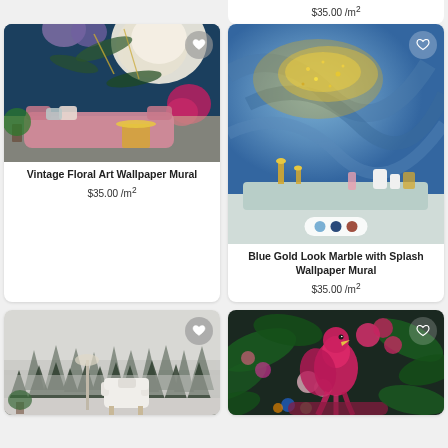[Figure (photo): Vintage floral art wallpaper mural on dark teal background with pink sofa in a living room setting]
Vintage Floral Art Wallpaper Mural
$35.00 /m²
[Figure (photo): Blue gold look marble with splash design, shown in living room with gold accessories and mint sideboard. Color swatches: light blue, dark blue, terracotta.]
Blue Gold Look Marble with Splash Wallpaper Mural
$35.00 /m²
$35.00 /m²
[Figure (photo): Misty forest wallpaper mural in grey tones with pine trees in fog, shown in minimalist living room with white armchair]
[Figure (photo): Tropical exotic wallpaper mural with pink parrot, lush green leaves, and vibrant flowers in dark moody setting]